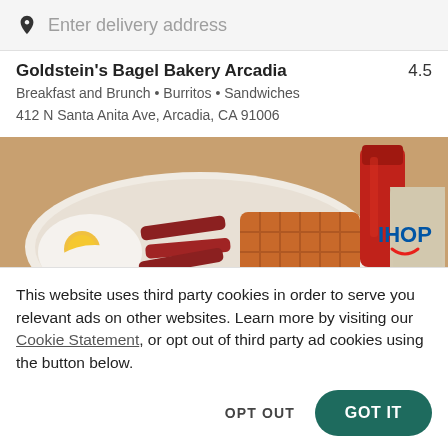Enter delivery address
Goldstein's Bagel Bakery Arcadia 4.5
Breakfast and Brunch • Burritos • Sandwiches
412 N Santa Anita Ave, Arcadia, CA 91006
[Figure (photo): Food photo showing fried eggs, bacon, waffles on a plate alongside a red drink bottle and an IHOP branded cup]
This website uses third party cookies in order to serve you relevant ads on other websites. Learn more by visiting our Cookie Statement, or opt out of third party ad cookies using the button below.
OPT OUT
GOT IT